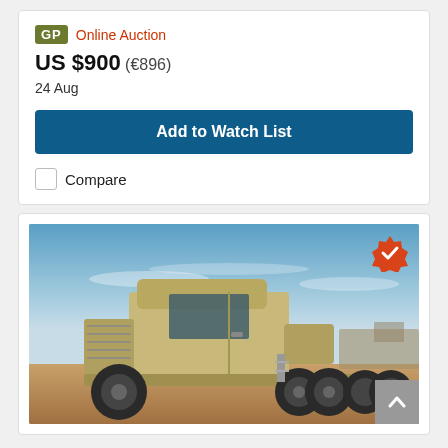GP Online Auction
US $900 (€896)
24 Aug
Add to Watch List
Compare
[Figure (photo): Military heavy truck tractor (sand/tan colored, multi-axle) parked on dirt ground under blue sky. Orange verified badge in top right corner of image. Gray scroll-to-top button at bottom right.]